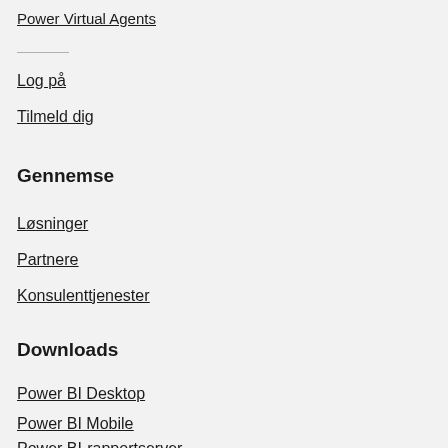Power Virtual Agents
Log på
Tilmeld dig
Gennemse
Løsninger
Partnere
Konsulenttjenester
Downloads
Power BI Desktop
Power BI Mobile
Power BI-rapportserver